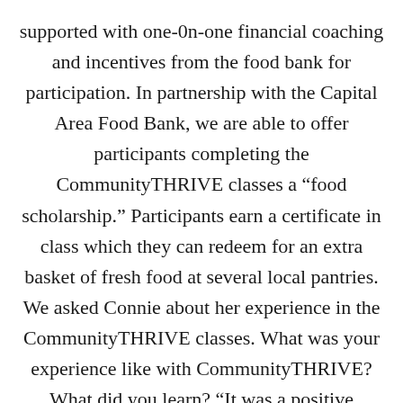supported with one-0n-one financial coaching and incentives from the food bank for participation. In partnership with the Capital Area Food Bank, we are able to offer participants completing the CommunityTHRIVE classes a “food scholarship.” Participants earn a certificate in class which they can redeem for an extra basket of fresh food at several local pantries. We asked Connie about her experience in the CommunityTHRIVE classes. What was your experience like with CommunityTHRIVE? What did you learn? “It was a positive experience ove gave me a lot of validation. I got lots of tips what I’m doing could work better.” Connie really liked the handouts she received in the class, including